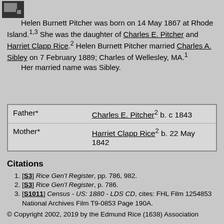[Figure (logo): Small black and grey icon/logo in top left corner]
Helen Burnett Pitcher was born on 14 May 1867 at Rhode Island.1,3 She was the daughter of Charles E. Pitcher and Harriet Clapp Rice.2 Helen Burnett Pitcher married Charles A. Sibley on 7 February 1889; Charles of Wellesley, MA.1
Her married name was Sibley.
| Father* | Charles E. Pitcher2 b. c 1843 |
| Mother* | Harriet Clapp Rice2 b. 22 May 1842 |
Citations
[S3] Rice Gen'l Register, pp. 786, 982.
[S3] Rice Gen'l Register, p. 786.
[S1011] Census - US: 1880 - LDS CD, cites: FHL Film 1254853 National Archives Film T9-0853 Page 190A.
© Copyright 2002, 2019 by the Edmund Rice (1638) Association
Herbert E. Pitcher1
This report includes only the first five generations of the Nova Scotia Planter descendants. To learn more about the early descendants of Edmund Rice visit the Edmund